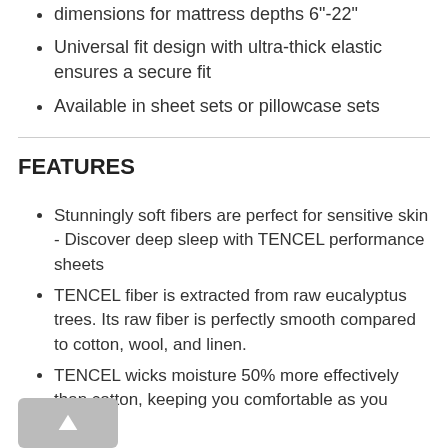dimensions for mattress depths 6"-22"
Universal fit design with ultra-thick elastic ensures a secure fit
Available in sheet sets or pillowcase sets
FEATURES
Stunningly soft fibers are perfect for sensitive skin - Discover deep sleep with TENCEL performance sheets
TENCEL fiber is extracted from raw eucalyptus trees. Its raw fiber is perfectly smooth compared to cotton, wool, and linen.
TENCEL wicks moisture 50% more effectively than cotton, keeping you comfortable as you sleep.
Small Eco-friendly footprint - TENCEL is made from renewable resources. Its production uses 10-20